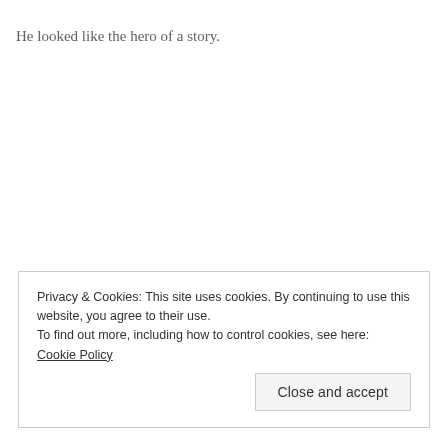He looked like the hero of a story.
Privacy & Cookies: This site uses cookies. By continuing to use this website, you agree to their use.
To find out more, including how to control cookies, see here: Cookie Policy
Close and accept